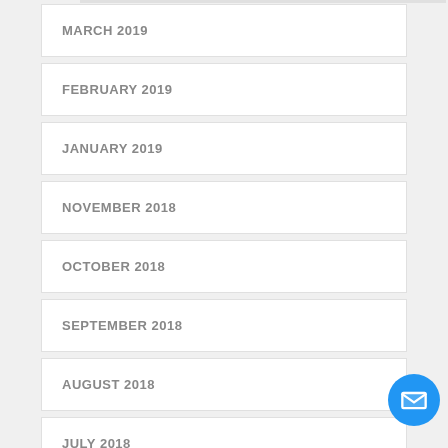MARCH 2019
FEBRUARY 2019
JANUARY 2019
NOVEMBER 2018
OCTOBER 2018
SEPTEMBER 2018
AUGUST 2018
JULY 2018
JUNE 2018